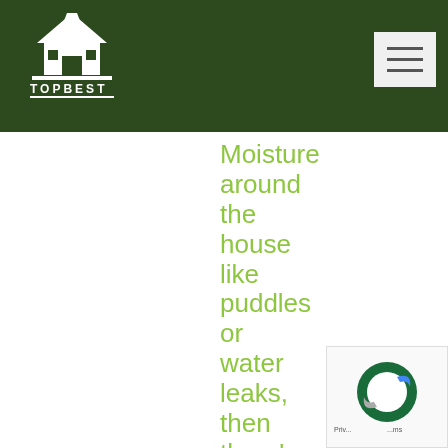TOPBEST
Moisture around the house like puddles or water leaks, then there's a good